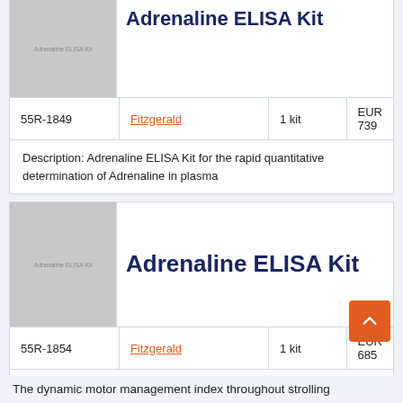Adrenaline ELISA Kit
| ID | Brand | Qty | Price |
| --- | --- | --- | --- |
| 55R-1849 | Fitzgerald | 1 kit | EUR 739 |
Description: Adrenaline ELISA Kit for the rapid quantitative determination of Adrenaline in plasma
[Figure (photo): Product image placeholder for Adrenaline ELISA Kit]
Adrenaline ELISA Kit
| ID | Brand | Qty | Price |
| --- | --- | --- | --- |
| 55R-1854 | Fitzgerald | 1 kit | EUR 685 |
Description: Adrenaline ELISA Kit for the rapid quantitative determination of Adrenaline in urine
The dynamic motor management index throughout strolling